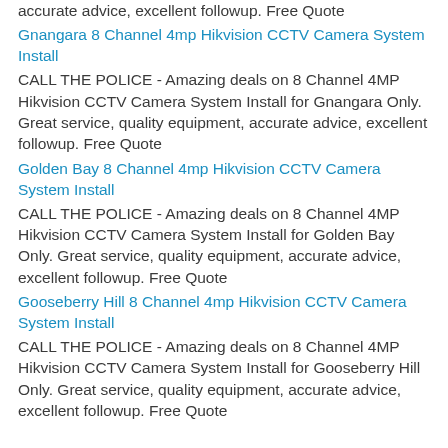accurate advice, excellent followup. Free Quote
Gnangara 8 Channel 4mp Hikvision CCTV Camera System Install
CALL THE POLICE - Amazing deals on 8 Channel 4MP Hikvision CCTV Camera System Install for Gnangara Only. Great service, quality equipment, accurate advice, excellent followup. Free Quote
Golden Bay 8 Channel 4mp Hikvision CCTV Camera System Install
CALL THE POLICE - Amazing deals on 8 Channel 4MP Hikvision CCTV Camera System Install for Golden Bay Only. Great service, quality equipment, accurate advice, excellent followup. Free Quote
Gooseberry Hill 8 Channel 4mp Hikvision CCTV Camera System Install
CALL THE POLICE - Amazing deals on 8 Channel 4MP Hikvision CCTV Camera System Install for Gooseberry Hill Only. Great service, quality equipment, accurate advice, excellent followup. Free Quote